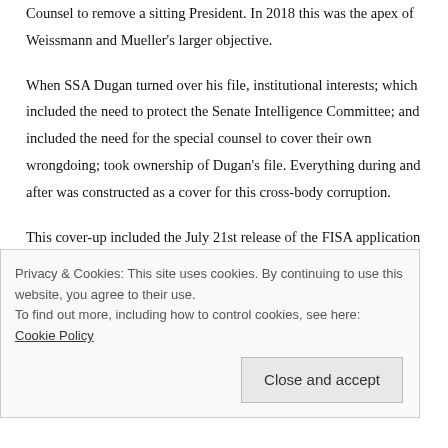Counsel to remove a sitting President. In 2018 this was the apex of Weissmann and Mueller's larger objective.
When SSA Dugan turned over his file, institutional interests; which included the need to protect the Senate Intelligence Committee; and included the need for the special counsel to cover their own wrongdoing; took ownership of Dugan's file. Everything during and after was constructed as a cover for this cross-body corruption.
This cover-up included the July 21st release of the FISA application by the special counsel team that
Privacy & Cookies: This site uses cookies. By continuing to use this website, you agree to their use.
To find out more, including how to control cookies, see here: Cookie Policy
Close and accept